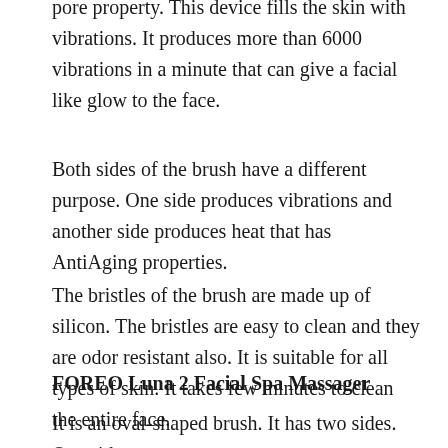pore property. This device fills the skin with vibrations. It produces more than 6000 vibrations in a minute that can give a facial like glow to the face.
Both sides of the brush have a different purpose. One side produces vibrations and another side produces heat that has AntiAging properties.
The bristles of the brush are made up of silicon. The bristles are easy to clean and they are odor resistant also. It is suitable for all types of skin. It takes few minutes to clean the entire face.
FOREO Luna 2 Facial Spa Massager
It is an oval-shaped brush. It has two sides. One side is meant for cleansing and the other side is used